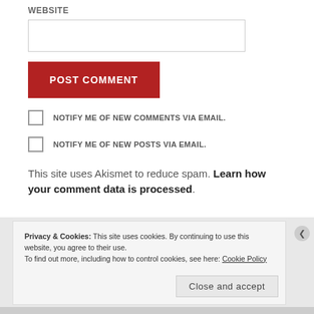WEBSITE
[Figure (screenshot): Empty text input field for website URL]
[Figure (screenshot): Red POST COMMENT button]
NOTIFY ME OF NEW COMMENTS VIA EMAIL.
NOTIFY ME OF NEW POSTS VIA EMAIL.
This site uses Akismet to reduce spam. Learn how your comment data is processed.
Privacy & Cookies: This site uses cookies. By continuing to use this website, you agree to their use.
To find out more, including how to control cookies, see here: Cookie Policy
Close and accept